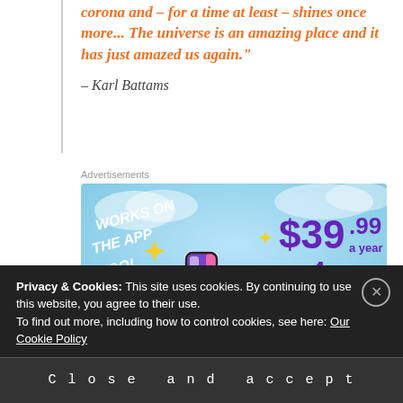corona and – for a time at least – shines once more... The universe is an amazing place and it has just amazed us again."
– Karl Battams
Advertisements
[Figure (infographic): Advertisement banner with sky-blue background showing a stylized number '1' icon with purple and pink coloring and yellow sparkles. Text reads: 'WORKS ON THE APP TOO!' on the left, and '$39.99 a year or $4.99 a month + FREE SHIPPING' on the right in purple text.]
Privacy & Cookies: This site uses cookies. By continuing to use this website, you agree to their use.
To find out more, including how to control cookies, see here: Our Cookie Policy
Close and accept